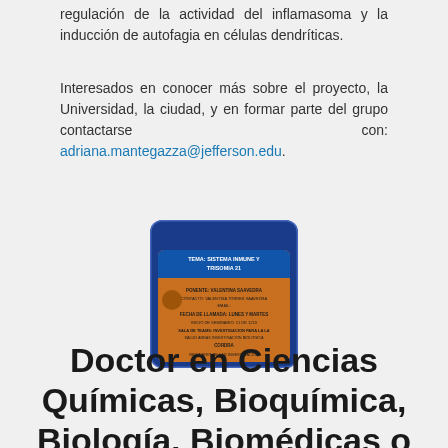regulación de la actividad del inflamasoma y la inducción de autofagia en células dendríticas.
Interesados en conocer más sobre el proyecto, la Universidad, la ciudad, y en formar parte del grupo contactarse con: adriana.mantegazza@jefferson.edu.
[Figure (infographic): A card/flyer image with blue and orange colors showing text about 'TEMA: SISTEMA INMUNE Y TRISOMIA 21' with additional details about a research position.]
Doctor en Ciencias Químicas, Bioquímica, Biología, Biomédicas o similares